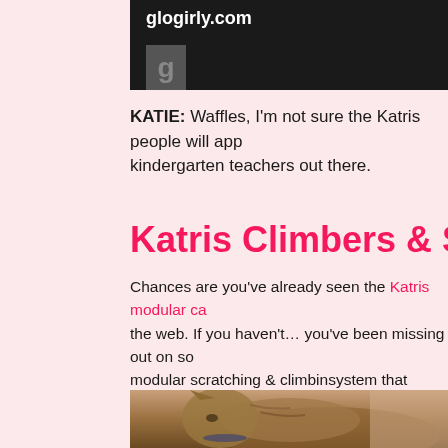[Figure (photo): Top portion of glogirly.com website header with dark background showing 'glogirly.com' text in white and a partial 'G' logo icon]
KATIE: Waffles, I'm not sure the Katris people will app... kindergarten teachers out there.
Katris Climbers & Scratch
Chances are you've already seen the Katris modular ca... the web. If you haven't... you've been missing out on so... modular scratching & climbinsystem that allows you to... from, you can mix and match to create endless configu... climbing preferences and what your home can accomm...
[Figure (photo): Close-up photo of a tabby cat wearing a collar, photographed from the side/above against a blurred background]